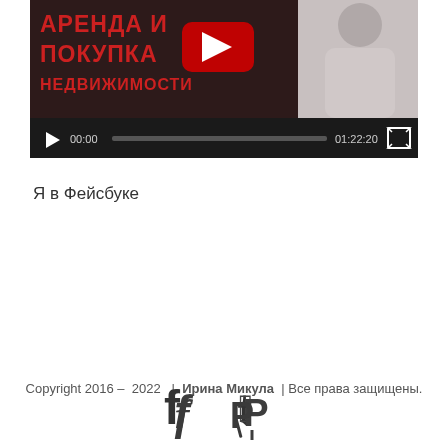[Figure (screenshot): YouTube video player showing a video titled АРЕНДА И ПОКУПКА НЕДВИЖИМОСТИ with controls showing 00:00 / 01:22:20]
Я в Фейсбуке
Copyright 2016 – 2022  |  Ирина Микула  | Все права защищены.
[Figure (illustration): Facebook and Pinterest social media icons]